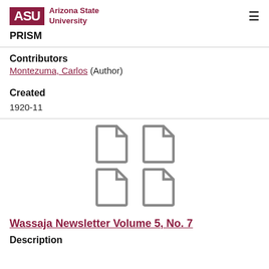ASU Arizona State University | PRISM
Contributors
Montezuma, Carlos (Author)
Created
1920-11
[Figure (illustration): Four document/file icons arranged in a 2x2 grid, gray colored]
Wassaja Newsletter Volume 5, No. 7
Description